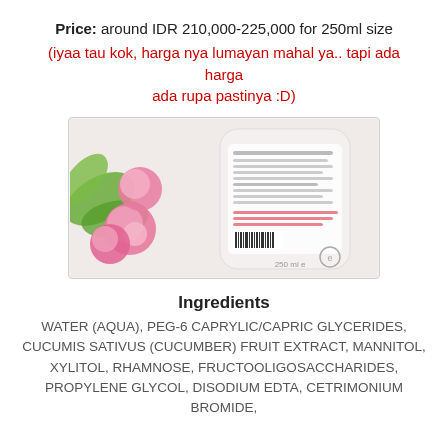Price: around IDR 210,000-225,000 for 250ml size (iyaa tau kok, harga nya lumayan mahal ya.. tapi ada harga ada rupa pastinya :D)
[Figure (photo): Back label of a skincare product bottle with pink roses in the background]
Ingredients
WATER (AQUA), PEG-6 CAPRYLIC/CAPRIC GLYCERIDES, CUCUMIS SATIVUS (CUCUMBER) FRUIT EXTRACT, MANNITOL, XYLITOL, RHAMNOSE, FRUCTOOLIGOSACCHARIDES, PROPYLENE GLYCOL, DISODIUM EDTA, CETRIMONIUM BROMIDE,